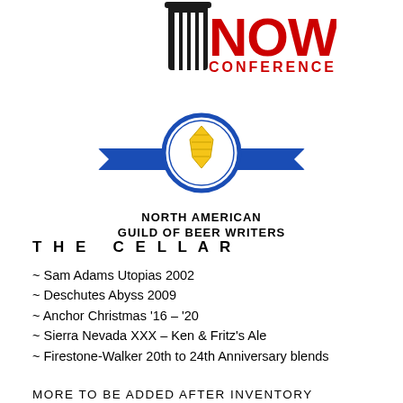[Figure (logo): NOW Conference logo with black beer mug/bottle silhouette and red NOW text with CONFERENCE below]
[Figure (logo): North American Guild of Beer Writers logo - blue circle with yellow/gold hop cone emblem, blue ribbon banner, black text NORTH AMERICAN GUILD OF BEER WRITERS]
THE CELLAR
~ Sam Adams Utopias 2002
~ Deschutes Abyss 2009
~ Anchor Christmas '16 – '20
~ Sierra Nevada XXX – Ken & Fritz's Ale
~ Firestone-Walker 20th to 24th Anniversary blends
MORE TO BE ADDED AFTER INVENTORY